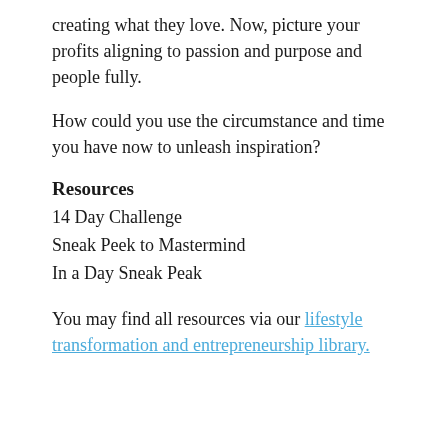creating what they love. Now, picture your profits aligning to passion and purpose and people fully.
How could you use the circumstance and time you have now to unleash inspiration?
Resources
14 Day Challenge
Sneak Peek to Mastermind
In a Day Sneak Peak
You may find all resources via our lifestyle transformation and entrepreneurship library.